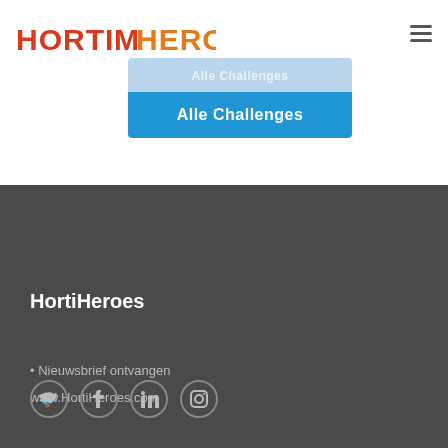[Figure (logo): HortiHeroes logo with orange/red text and butterfly icon]
[Figure (other): Hamburger menu icon (three horizontal lines)]
[Figure (other): Blue button with text 'Alle Challenges']
HortiHeroes
• Nieuwsbrief ontvangen
www.HortiHeroes.com
[Figure (other): Social media icons: Twitter, Facebook, LinkedIn, Instagram]